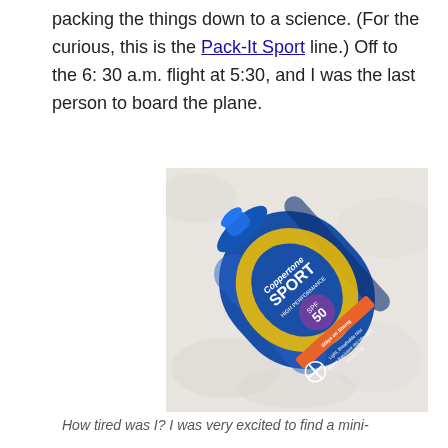packing the things down to a science. (For the curious, this is the Pack-It Sport line.) Off to the 6: 30 a.m. flight at 5:30, and I was the last person to board the plane.
[Figure (photo): A blue Coppertone Sport SPF 50 sunscreen spray can lying diagonally on a light fabric surface.]
How tired was I? I was very excited to find a mini-